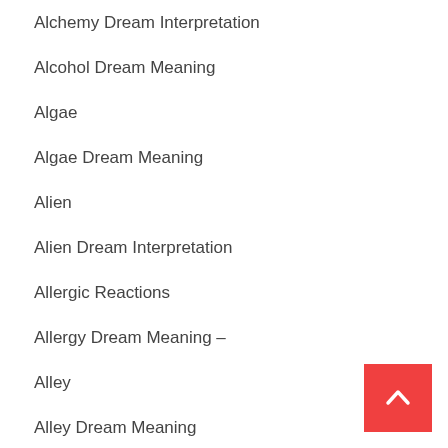Alchemy Dream Interpretation
Alcohol Dream Meaning
Algae
Algae Dream Meaning
Alien
Alien Dream Interpretation
Allergic Reactions
Allergy Dream Meaning –
Alley
Alley Dream Meaning
Almond Dream Interpretation
[Figure (other): Red back-to-top button with white upward chevron arrow]